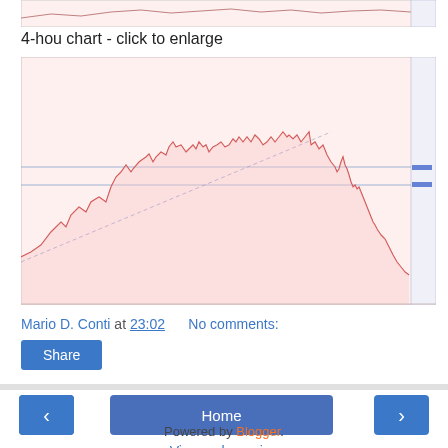[Figure (continuous-plot): Top partial financial chart showing price action, cropped at top of view]
4-hou chart - click to enlarge
[Figure (continuous-plot): 4-hour candlestick/line financial chart showing price movements with upward trend then sharp decline, pink/rose background, horizontal support lines drawn across chart, price scale on right side]
Mario D. Conti at 23:02    No comments:
Share
Home
View web version
Powered by Blogger.